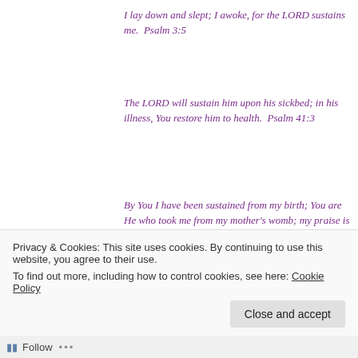I lay down and slept; I awoke, for the LORD sustains me.  Psalm 3:5
The LORD will sustain him upon his sickbed; in his illness, You restore him to health.  Psalm 41:3
By You I have been sustained from my birth; You are He who took me from my mother's womb; my praise is continually of You.  Psalm 71:6
Sustain me according to Your word, that I may live; and do not let me be ashamed of my hope.
Privacy & Cookies: This site uses cookies. By continuing to use this website, you agree to their use.
To find out more, including how to control cookies, see here: Cookie Policy
Close and accept
Follow